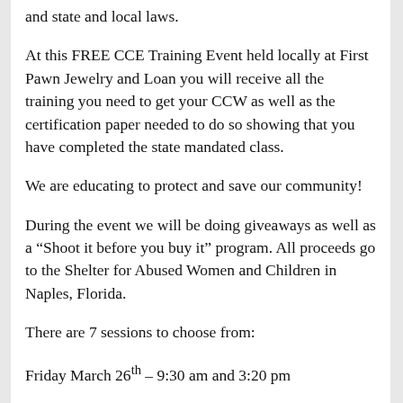and state and local laws.
At this FREE CCE Training Event held locally at First Pawn Jewelry and Loan you will receive all the training you need to get your CCW as well as the certification paper needed to do so showing that you have completed the state mandated class.
We are educating to protect and save our community!
During the event we will be doing giveaways as well as a “Shoot it before you buy it” program. All proceeds go to the Shelter for Abused Women and Children in Naples, Florida.
There are 7 sessions to choose from:
Friday March 26th – 9:30 am and 3:20 pm